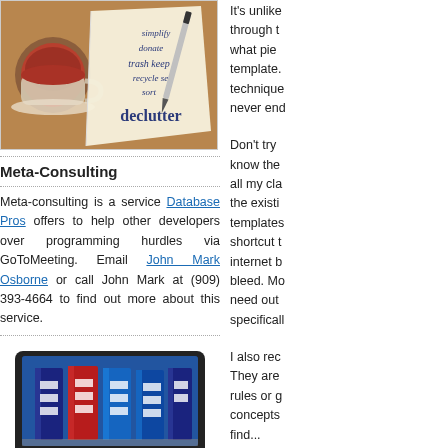[Figure (photo): Photo of a tea cup and a napkin with decluttering words: simplify, donate, trash, keep, recycle, sell, sort, declutter, with a pen beside it on a wooden table]
Meta-Consulting
Meta-consulting is a service Database Pros offers to help other developers over programming hurdles via GoToMeeting. Email John Mark Osborne or call John Mark at (909) 393-4664 to find out more about this service.
[Figure (photo): Photo of binders/files on a tablet or laptop screen]
It's unlike through t what pie template. technique never end
Don't try know the all my cla the existi templates shortcut t internet b bleed. Mo need out specificall
I also rec They are rules or g concepts find...